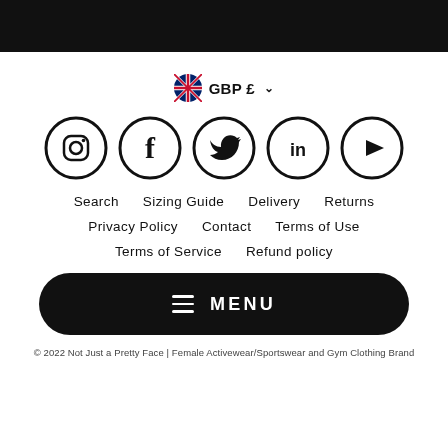[Figure (infographic): Currency selector showing UK flag with GBP £ and dropdown chevron]
[Figure (infographic): Row of five social media icon circles: Instagram, Facebook, Twitter, LinkedIn, YouTube]
Search   Sizing Guide   Delivery   Returns
Privacy Policy   Contact   Terms of Use
Terms of Service   Refund policy
[Figure (infographic): Black rounded rectangle menu button with hamburger icon and MENU text]
© 2022 Not Just a Pretty Face | Female Activewear/Sportswear and Gym Clothing Brand